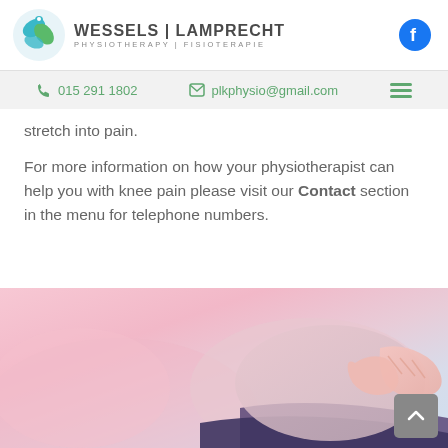WESSELS | LAMPRECHT PHYSIOTHERAPY | FISIOTERAPIE
015 291 1802   plkphysio@gmail.com
stretch into pain.
For more information on how your physiotherapist can help you with knee pain please visit our Contact section in the menu for telephone numbers.
[Figure (photo): Photo of hands working on a knee, physiotherapy treatment image with pink and blue tones]